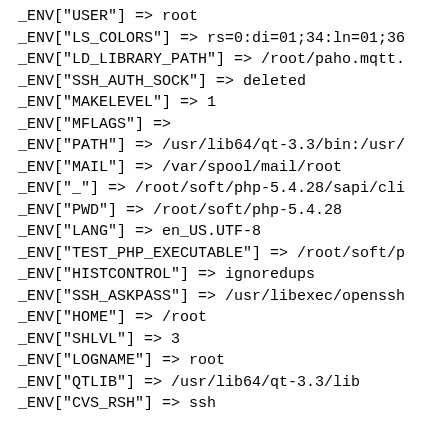_ENV["USER"] => root
_ENV["LS_COLORS"] => rs=0:di=01;34:ln=01;36
_ENV["LD_LIBRARY_PATH"] => /root/paho.mqtt.
_ENV["SSH_AUTH_SOCK"] => deleted
_ENV["MAKELEVEL"] => 1
_ENV["MFLAGS"] =>
_ENV["PATH"] => /usr/lib64/qt-3.3/bin:/usr/
_ENV["MAIL"] => /var/spool/mail/root
_ENV["_"] => /root/soft/php-5.4.28/sapi/cli
_ENV["PWD"] => /root/soft/php-5.4.28
_ENV["LANG"] => en_US.UTF-8
_ENV["TEST_PHP_EXECUTABLE"] => /root/soft/p
_ENV["HISTCONTROL"] => ignoredups
_ENV["SSH_ASKPASS"] => /usr/libexec/openssh
_ENV["HOME"] => /root
_ENV["SHLVL"] => 3
_ENV["LOGNAME"] => root
_ENV["QTLIB"] => /usr/lib64/qt-3.3/lib
_ENV["CVS_RSH"] => ssh